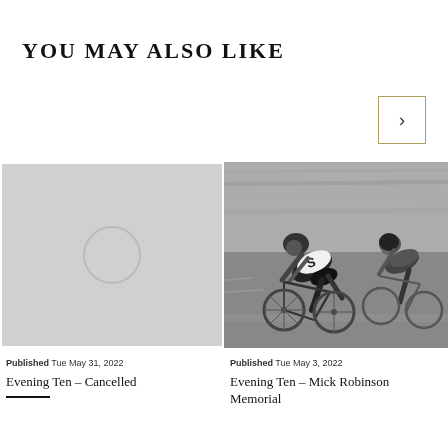YOU MAY ALSO LIKE
[Figure (illustration): Navigation arrow button pointing right, with gold/olive border]
[Figure (photo): Grey placeholder image with a faint circle in the center]
Published Tue May 31, 2022
Evening Ten – Cancelled
[Figure (photo): Black and white photograph of cyclists racing on a track, two riders leaning forward intensely]
Published Tue May 3, 2022
Evening Ten – Mick Robinson Memorial